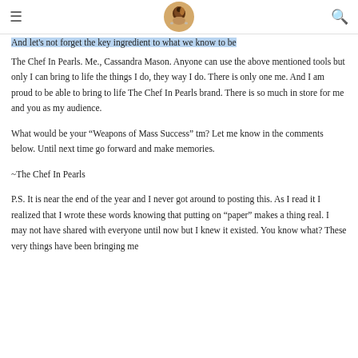The Chef In Pearls (logo/navigation header)
And let's not forget the key ingredient to what we know to be
The Chef In Pearls. Me., Cassandra Mason. Anyone can use the above mentioned tools but only I can bring to life the things I do, they way I do. There is only one me. And I am proud to be able to bring to life The Chef In Pearls brand. There is so much in store for me and you as my audience.
What would be your “Weapons of Mass Success” tm? Let me know in the comments below. Until next time go forward and make memories.
~The Chef In Pearls
P.S. It is near the end of the year and I never got around to posting this. As I read it I realized that I wrote these words knowing that putting on “paper” makes a thing real. I may not have shared with everyone until now but I knew it existed. You know what? These very things have been bringing me